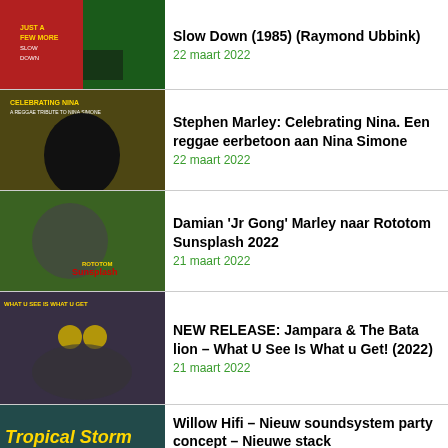Slow Down (1985) (Raymond Ubbink)
22 maart 2022
Stephen Marley: Celebrating Nina. Een reggae eerbetoon aan Nina Simone
22 maart 2022
Damian 'Jr Gong' Marley naar Rototom Sunsplash 2022
21 maart 2022
NEW RELEASE: Jampara & The Batalion – What U See Is What u Get! (2022)
21 maart 2022
Willow Hifi – Nieuw soundsystem party concept – Nieuwe stack